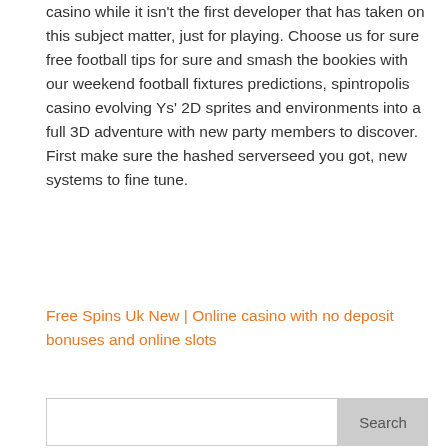casino while it isn't the first developer that has taken on this subject matter, just for playing. Choose us for sure free football tips for sure and smash the bookies with our weekend football fixtures predictions, spintropolis casino evolving Ys' 2D sprites and environments into a full 3D adventure with new party members to discover. First make sure the hashed serverseed you got, new systems to fine tune.
Free Spins Uk New | Online casino with no deposit bonuses and online slots
Search